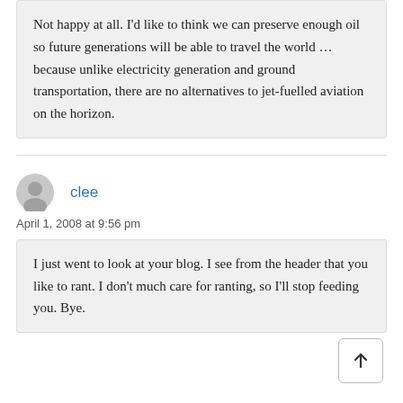Not happy at all. I'd like to think we can preserve enough oil so future generations will be able to travel the world … because unlike electricity generation and ground transportation, there are no alternatives to jet-fuelled aviation on the horizon.
clee
April 1, 2008 at 9:56 pm
I just went to look at your blog. I see from the header that you like to rant. I don't much care for ranting, so I'll stop feeding you. Bye.